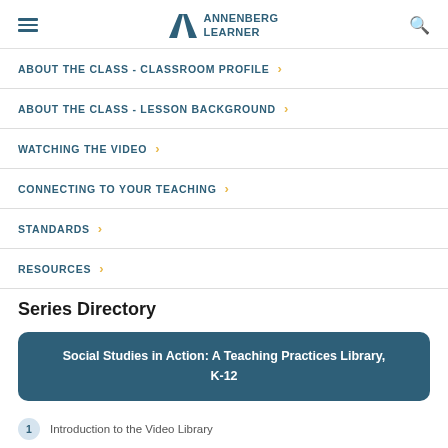Annenberg Learner
ABOUT THE CLASS - CLASSROOM PROFILE
ABOUT THE CLASS - LESSON BACKGROUND
WATCHING THE VIDEO
CONNECTING TO YOUR TEACHING
STANDARDS
RESOURCES
Series Directory
Social Studies in Action: A Teaching Practices Library, K-12
1 Introduction to the Video Library
2 A Standards Overview, K-5